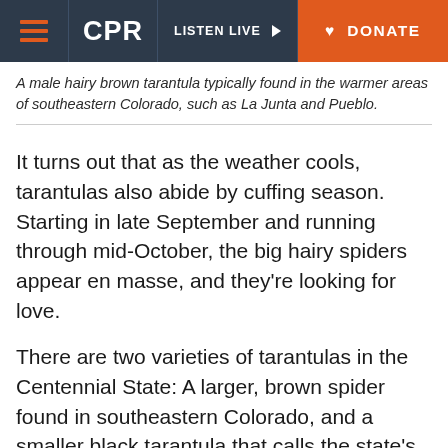CPR | LISTEN LIVE | DONATE
A male hairy brown tarantula typically found in the warmer areas of southeastern Colorado, such as La Junta and Pueblo.
It turns out that as the weather cools, tarantulas also abide by cuffing season. Starting in late September and running through mid-October, the big hairy spiders appear en masse, and they're looking for love.
There are two varieties of tarantulas in the Centennial State: A larger, brown spider found in southeastern Colorado, and a smaller black tarantula that calls the state's southwestern locales home.